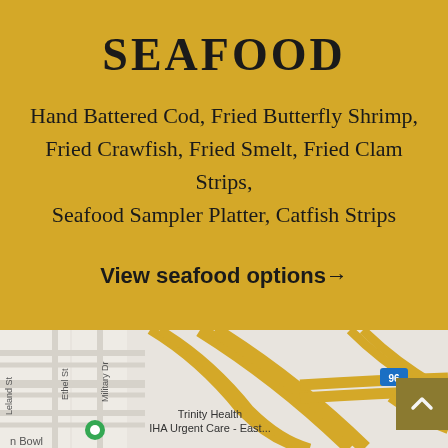SEAFOOD
Hand Battered Cod, Fried Butterfly Shrimp, Fried Crawfish, Fried Smelt, Fried Clam Strips, Seafood Sampler Platter, Catfish Strips
View seafood options →
[Figure (map): Google Maps screenshot showing the area near Trinity Health IHA Urgent Care - East, with streets including Ethel St, Military Dr, Leland St, and highway 96 visible. A green location pin is shown at the bottom left.]